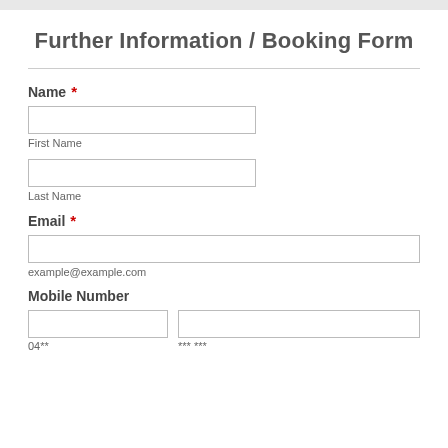Further Information / Booking Form
Name *
First Name
Last Name
Email *
example@example.com
Mobile Number
04**
*** ***